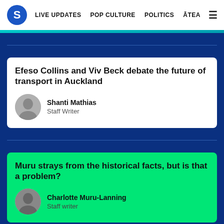S  LIVE UPDATES  POP CULTURE  POLITICS  ĀTEA  ☰
Efeso Collins and Viv Beck debate the future of transport in Auckland
Shanti Mathias
Staff Writer
Muru strays from the historical facts, but is that a problem?
Charlotte Muru-Lanning
Staff writer
Lou'ana's love for Selena runs deep